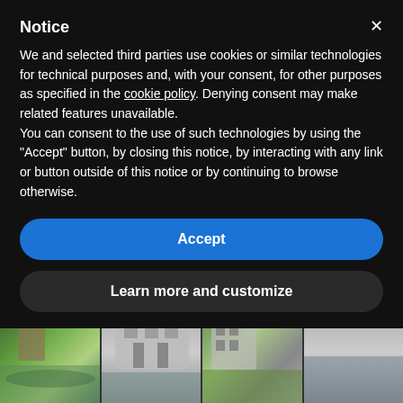Notice
We and selected third parties use cookies or similar technologies for technical purposes and, with your consent, for other purposes as specified in the cookie policy. Denying consent may make related features unavailable.
You can consent to the use of such technologies by using the "Accept" button, by closing this notice, by interacting with any link or button outside of this notice or by continuing to browse otherwise.
Accept
Learn more and customize
[Figure (photo): A strip of four photographs showing a historic castle or manor building reflected in water, viewed through large glass windows, with trees and greenery visible.]